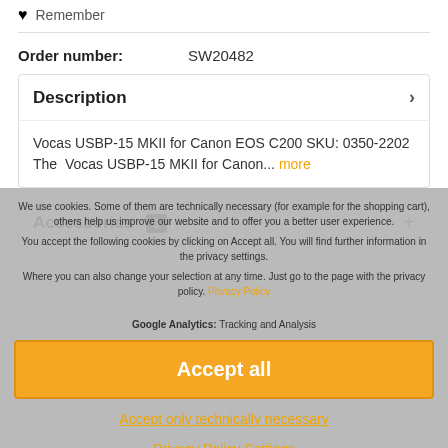Remember
Order number: SW20482
Description
Vocas USBP-15 MKII for Canon EOS C200 SKU: 0350-2202
The  Vocas USBP-15 MKII for Canon... more
Accessories 3
We use cookies. Some of them are technically necessary (for example for the shopping cart), others help us improve our website and to offer you a better user experience.

You accept the following cookies by clicking on Accept all. You will find further information in the privacy settings.

Where you can also change your selection at any time. Just go to the page with the privacy policy. Privacy Policy
Google Analytics: Tracking and Analysis
Accept all
Accept only technically necessary
Privacy Policy Settings